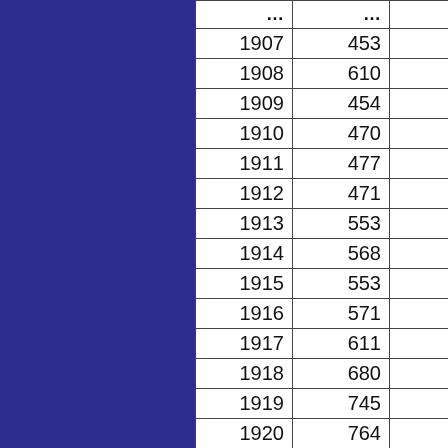| Year | Value |  |
| --- | --- | --- |
| 1907 | 453 |  |
| 1908 | 610 |  |
| 1909 | 454 |  |
| 1910 | 470 |  |
| 1911 | 477 |  |
| 1912 | 471 |  |
| 1913 | 553 |  |
| 1914 | 568 |  |
| 1915 | 553 |  |
| 1916 | 571 |  |
| 1917 | 611 |  |
| 1918 | 680 |  |
| 1919 | 745 |  |
| 1920 | 764 |  |
| 1921 | 708 |  |
| 1922 | 766 |  |